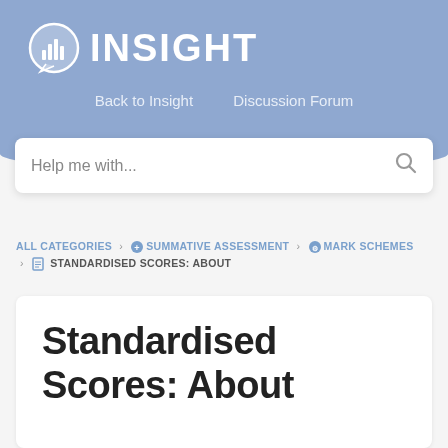INSIGHT
Back to Insight   Discussion Forum
Help me with...
ALL CATEGORIES > SUMMATIVE ASSESSMENT > MARK SCHEMES > STANDARDISED SCORES: ABOUT
Standardised Scores: About